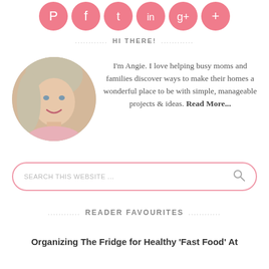[Figure (illustration): Row of social media icon circles in pink: Pinterest, Facebook, Twitter, Instagram, Google+, Google+]
HI THERE!
[Figure (photo): Circular profile photo of a smiling blonde woman named Angie]
I'm Angie. I love helping busy moms and families discover ways to make their homes a wonderful place to be with simple, manageable projects & ideas. Read More...
[Figure (other): Search box with placeholder text SEARCH THIS WEBSITE ... and a search icon]
READER FAVOURITES
Organizing The Fridge for Healthy 'Fast Food' At